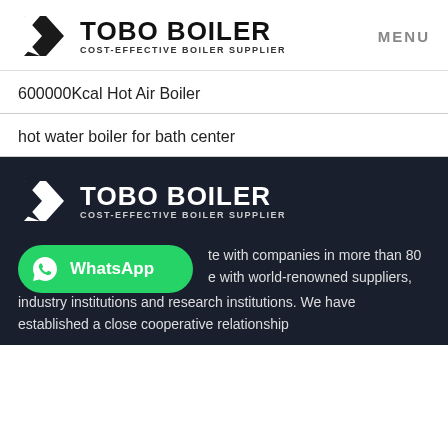TOBO BOILER COST-EFFECTIVE BOILER SUPPLIER | MENU
600000Kcal Hot Air Boiler
hot water boiler for bath center
[Figure (logo): TOBO BOILER logo with geometric icon, white version on dark background, COST-EFFECTIVE BOILER SUPPLIER subtitle]
te with companies in more than 80 e with world-renowned suppliers, industry institutions and research institutions. We have established a close cooperative relationship